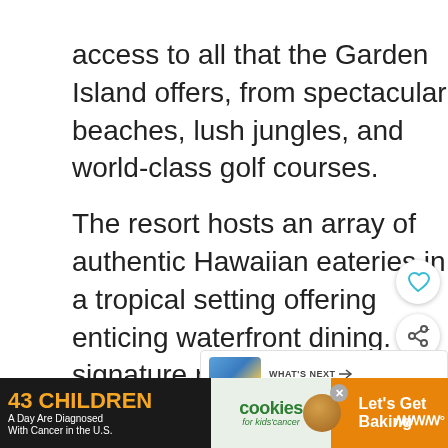access to all that the Garden Island offers, from spectacular beaches, lush jungles, and world-class golf courses.
The resort hosts an array of authentic Hawaiian eateries in a tropical setting offering enticing waterfront dining. Its signature restaurant RumFire boasts spectacular views of the sunset.
[Figure (screenshot): Circular like/heart button and share button on the right side]
[Figure (screenshot): WHAT'S NEXT card with thumbnail image and text 'Impressive Kauai Luxur...']
[Figure (infographic): Advertisement banner: '43 CHILDREN A Day Are Diagnosed With Cancer in the U.S.' with cookies for kids' cancer and 'Let's Get Baking' on orange background]